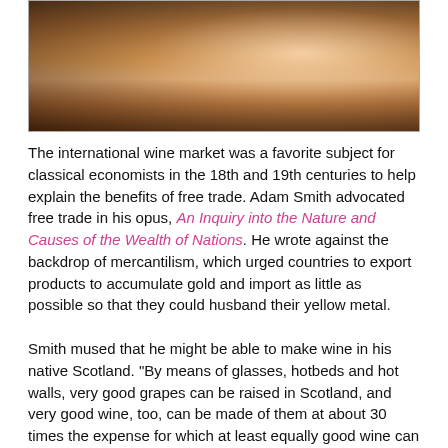[Figure (photo): Close-up photo of hands holding a wine glass, warm brown tones]
The international wine market was a favorite subject for classical economists in the 18th and 19th centuries to help explain the benefits of free trade. Adam Smith advocated free trade in his opus, An Inquiry into the Nature and Causes of the Wealth of Nations. He wrote against the backdrop of mercantilism, which urged countries to export products to accumulate gold and import as little as possible so that they could husband their yellow metal.
Smith mused that he might be able to make wine in his native Scotland. "By means of glasses, hotbeds and hot walls, very good grapes can be raised in Scotland, and very good wine, too, can be made of them at about 30 times the expense for which at least equally good wine can be bought from foreign countries," he wrote. The frugal Scotsman considered that crazy, adding: "If a foreign country can supply us with a commodity cheaper than we ourselves can make it, better buy it of them with some part of the produce of our own industry, employed in a way in which we have some advantage." His strongest example was wine and cloth. The Portuguese could manufacture cloth, but were more efficient making wine, while the English could make wine, but were better at producing cloth. Smith argued